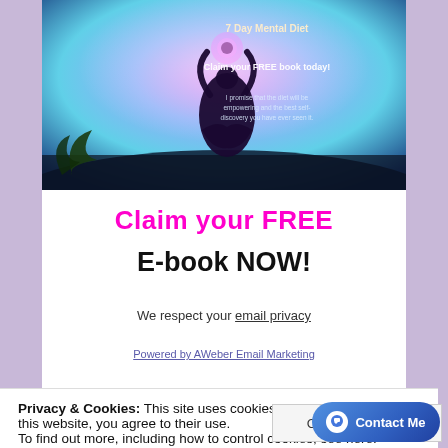[Figure (illustration): Promotional banner image showing a silhouetted person in a yoga/meditation pose with arms raised, against a colorful glowing background. Text overlay reads '7 Day Mental Diet', 'Claim your FREE book today!', and 'I promise that the diet will be empowering and the best self-discovery you have ever seen it.']
Claim your FREE
E-book NOW!
We respect your email privacy
Powered by AWeber Email Marketing
Privacy & Cookies: This site uses cookies. By continuing to use this website, you agree to their use.
To find out more, including how to control cookies, see here: Cookie Policy
Close and accept
[Figure (other): Blue rounded button with chat bubble icon and 'Contact Me' text]